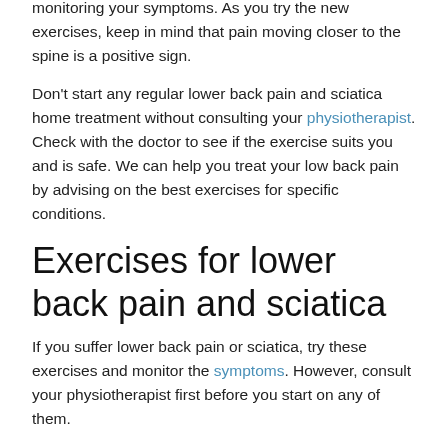cases, we can advise new low back exercises while monitoring your symptoms. As you try the new exercises, keep in mind that pain moving closer to the spine is a positive sign.
Don't start any regular lower back pain and sciatica home treatment without consulting your physiotherapist. Check with the doctor to see if the exercise suits you and is safe. We can help you treat your low back pain by advising on the best exercises for specific conditions.
Exercises for lower back pain and sciatica
If you suffer lower back pain or sciatica, try these exercises and monitor the symptoms. However, consult your physiotherapist first before you start on any of them.
Lumbar flexion